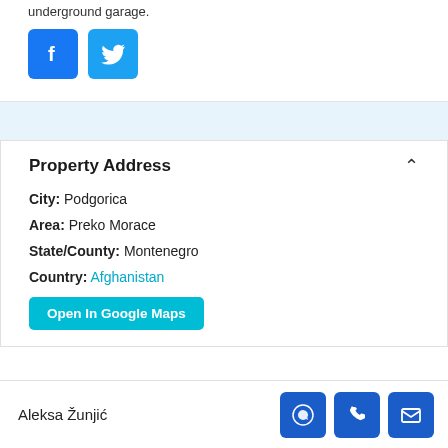underground garage.
[Figure (other): Facebook and Twitter social media icon buttons]
Property Address
City: Podgorica
Area: Preko Morace
State/County: Montenegro
Country: Afghanistan
Open In Google Maps
Aleksa Žunjić
[Figure (other): WhatsApp, phone, and email contact icon buttons]